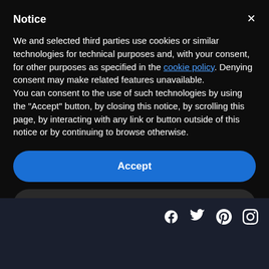Notice
We and selected third parties use cookies or similar technologies for technical purposes and, with your consent, for other purposes as specified in the cookie policy. Denying consent may make related features unavailable.
You can consent to the use of such technologies by using the "Accept" button, by closing this notice, by scrolling this page, by interacting with any link or button outside of this notice or by continuing to browse otherwise.
Accept
Learn more and customize
[Figure (illustration): Social media icons: Facebook, Twitter, Pinterest, Instagram]